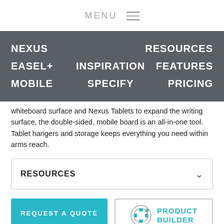MENU ≡
NEXUS   RESOURCES
EASEL+   INSPIRATION   FEATURES
MOBILE   SPECIFY   PRICING
whiteboard surface and Nexus Tablets to expand the writing surface, the double-sided, mobile board is an all-in-one tool. Tablet hangers and storage keeps everything you need within arms reach.
RESOURCES
REQUEST A QUOTE
PRODUCT BUILDER